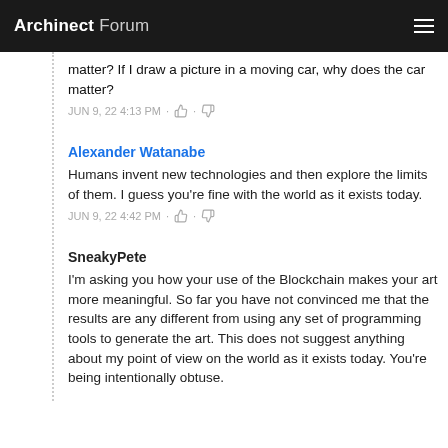Archinect Forum
matter? If I draw a picture in a moving car, why does the car matter?
JUN 9, 22 4:13 PM
Alexander Watanabe
Humans invent new technologies and then explore the limits of them. I guess you're fine with the world as it exists today.
JUN 9, 22 4:42 PM
SneakyPete
I'm asking you how your use of the Blockchain makes your art more meaningful. So far you have not convinced me that the results are any different from using any set of programming tools to generate the art. This does not suggest anything about my point of view on the world as it exists today. You're being intentionally obtuse.